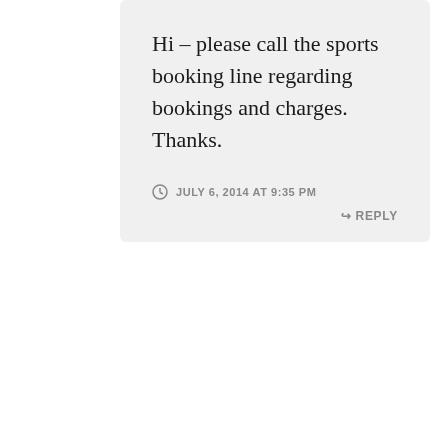Hi – please call the sports booking line regarding bookings and charges. Thanks.
JULY 6, 2014 AT 9:35 PM
REPLY
[Figure (illustration): Circular avatar with a geometric blue/purple diamond star pattern on white background]
rute
Hi,
Can you please let me know the time at beach...